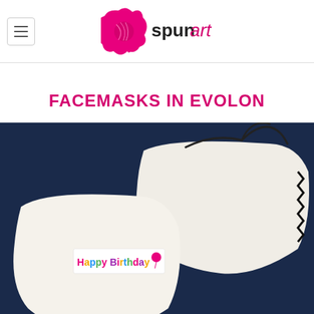spunart
FACEMASKS IN EVOLON
[Figure (photo): Two white fabric facemasks on a dark blue background. One mask has a black zig-zag stitched trim and black drawstring ties. The front mask has a colorful 'Happy Birthday' printed fabric label and teal/blue ties.]